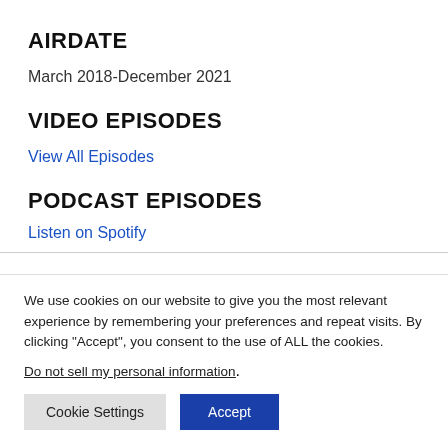AIRDATE
March 2018-December 2021
VIDEO EPISODES
View All Episodes
PODCAST EPISODES
Listen on Spotify
We use cookies on our website to give you the most relevant experience by remembering your preferences and repeat visits. By clicking “Accept”, you consent to the use of ALL the cookies.
Do not sell my personal information.